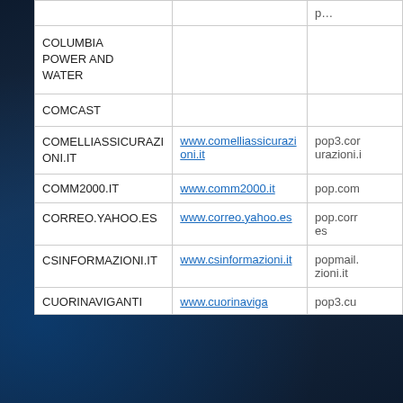| Provider | Website | POP Server |
| --- | --- | --- |
| COLUMBIA POWER AND WATER |  |  |
| COMCAST |  |  |
| COMELLIASSICURAZIONI.IT | www.comelliassicurazioni.it | pop3.comelliassicurazioni.i... |
| COMM2000.IT | www.comm2000.it | pop.comm... |
| CORREO.YAHOO.ES | www.correo.yahoo.es | pop.correo.es |
| CSINFORMAZIONI.IT | www.csinformazioni.it | popmail.csinformazioni.it |
| CUORINAVIGANTI | www.cuorinaviga... | pop3.cu... |